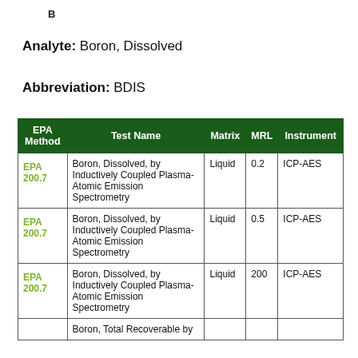B
Analyte: Boron, Dissolved
Abbreviation: BDIS
| EPA Method | Test Name | Matrix | MRL | Instrument |
| --- | --- | --- | --- | --- |
| EPA 200.7 | Boron, Dissolved, by Inductively Coupled Plasma-Atomic Emission Spectrometry | Liquid | 0.2 | ICP-AES |
| EPA 200.7 | Boron, Dissolved, by Inductively Coupled Plasma-Atomic Emission Spectrometry | Liquid | 0.5 | ICP-AES |
| EPA 200.7 | Boron, Dissolved, by Inductively Coupled Plasma-Atomic Emission Spectrometry | Liquid | 200 | ICP-AES |
|  | Boron, Total Recoverable by |  |  |  |